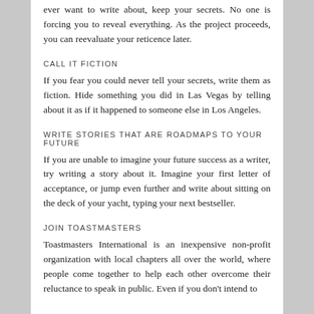ever want to write about, keep your secrets. No one is forcing you to reveal everything. As the project proceeds, you can reevaluate your reticence later.
CALL IT FICTION
If you fear you could never tell your secrets, write them as fiction. Hide something you did in Las Vegas by telling about it as if it happened to someone else in Los Angeles.
WRITE STORIES THAT ARE ROADMAPS TO YOUR FUTURE
If you are unable to imagine your future success as a writer, try writing a story about it. Imagine your first letter of acceptance, or jump even further and write about sitting on the deck of your yacht, typing your next bestseller.
JOIN TOASTMASTERS
Toastmasters International is an inexpensive non-profit organization with local chapters all over the world, where people come together to help each other overcome their reluctance to speak in public. Even if you don't intend to